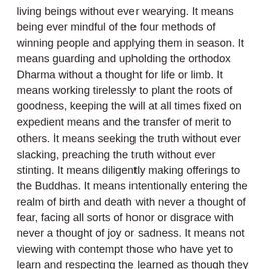living beings without ever wearying. It means being ever mindful of the four methods of winning people and applying them in season. It means guarding and upholding the orthodox Dharma without a thought for life or limb. It means working tirelessly to plant the roots of goodness, keeping the will at all times fixed on expedient means and the transfer of merit to others. It means seeking the truth without ever slacking, preaching the truth without ever stinting. It means diligently making offerings to the Buddhas. It means intentionally entering the realm of birth and death with never a thought of fear, facing all sorts of honor or disgrace with never a thought of joy or sadness. It means not viewing with contempt those who have yet to learn and respecting the learned as though they were the Buddha himself. It means arousing correct thoughts in those sunk in earthly desires, but without unduly prizing one's own desire to be free of passion. One should not cling to one's own desire [for emancipation], but instead applaud others' desire [for emancipation].